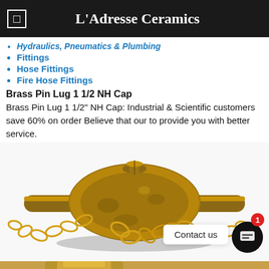L'Adresse Ceramics
Hydraulics, Pneumatics & Plumbing
Fittings
Hose Fittings
Fire Hose Fittings
Brass Pin Lug 1 1/2 NH Cap
Brass Pin Lug 1 1/2" NH Cap: Industrial & Scientific customers save 60% on order Believe that our to provide you with better service.
[Figure (photo): Brass Pin Lug 1 1/2 NH Cap with chain attached, shown in gold/brass finish from a front angle view.]
Contact us